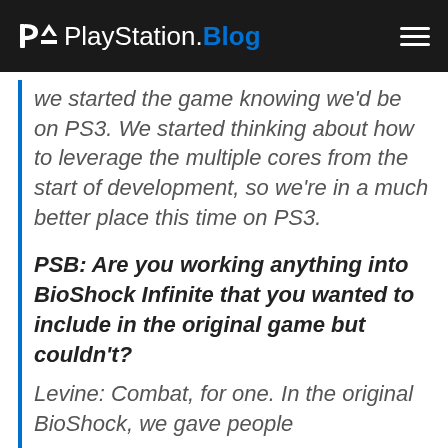PlayStation.Blog
we started the game knowing we'd be on PS3. We started thinking about how to leverage the multiple cores from the start of development, so we're in a much better place this time on PS3.
PSB: Are you working anything into BioShock Infinite that you wanted to include in the original game but couldn't?
Levine: Combat, for one. In the original BioShock, we gave people